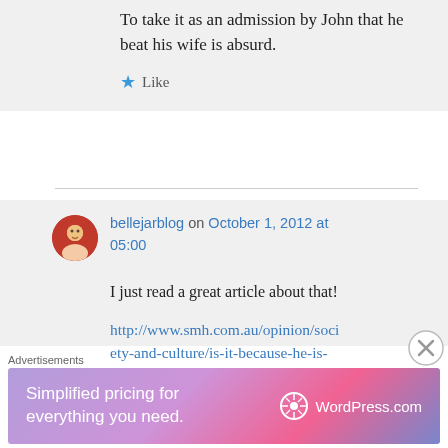To take it as an admission by John that he beat his wife is absurd.
★ Like
bellejarblog on October 1, 2012 at 05:00
I just read a great article about that!
http://www.smh.com.au/opinion/society-and-culture/is-it-because-he-is-brown-20120926-26lfv.html
Advertisements
[Figure (other): WordPress.com advertisement banner: 'Simplified pricing for everything you need.' with WordPress.com logo on a purple-pink gradient background]